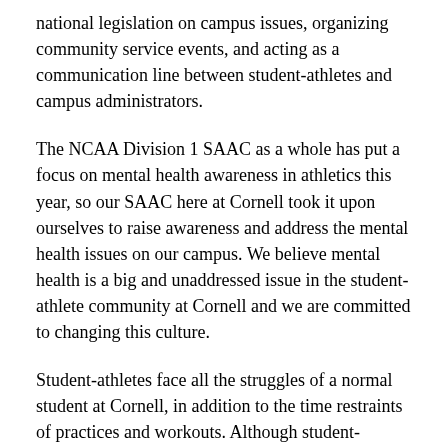national legislation on campus issues, organizing community service events, and acting as a communication line between student-athletes and campus administrators.
The NCAA Division 1 SAAC as a whole has put a focus on mental health awareness in athletics this year, so our SAAC here at Cornell took it upon ourselves to raise awareness and address the mental health issues on our campus. We believe mental health is a big and unaddressed issue in the student-athlete community at Cornell and we are committed to changing this culture.
Student-athletes face all the struggles of a normal student at Cornell, in addition to the time restraints of practices and workouts. Although student-athletes have superior time management skills, it is very common to feel extremely overwhelmed. Additionally, we constantly deal